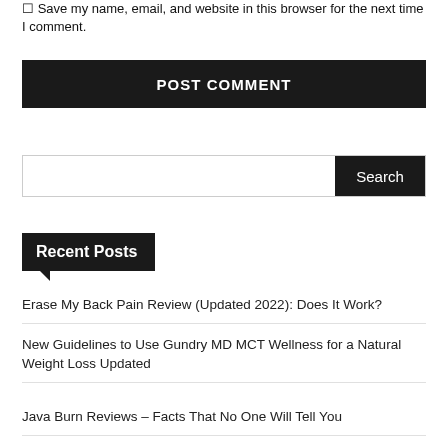Save my name, email, and website in this browser for the next time I comment.
POST COMMENT
Search
Recent Posts
Erase My Back Pain Review (Updated 2022): Does It Work?
New Guidelines to Use Gundry MD MCT Wellness for a Natural Weight Loss Updated
Java Burn Reviews – Facts That No One Will Tell You